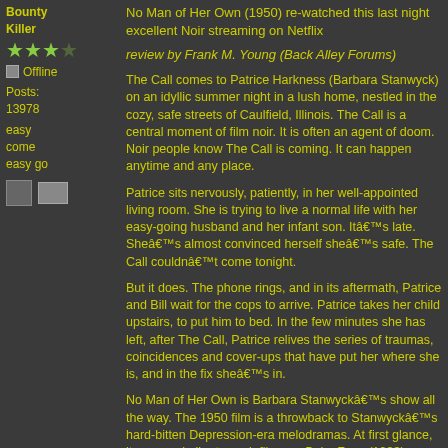Bounty Killer
★★★☆ (3 stars)
Offline
Posts: 13978
easy come easy go
No Man of Her Own (1950) re-watched this last night excellent Noir streaming on Netflix
review by Frank M. Young (Back Alley Forums)
The Call comes to Patrice Harkness (Barbara Stanwyck) on an idyllic summer night in a lush home, nestled in the cozy, safe streets of Caulfield, Illinois. The Call is a central moment of film noir. It is often an agent of doom. Noir people know The Call is coming. It can happen anytime and any place.
Patrice sits nervously, patiently, in her well-appointed living room. She is trying to live a normal life with her easy-going husband and her infant son. Itâ€™s late. Sheâ€™s almost convinced herself sheâ€™s safe. The Call couldnâ€™t come tonight.
But it does. The phone rings, and in its aftermath, Patrice and Bill wait for the cops to arrive. Patrice takes her child upstairs, to put him to bed. In the few minutes she has left, after The Call, Patrice relives the series of traumas, coincidences and cover-ups that have put her where she is, and in the fix sheâ€™s in.
No Man of Her Own is Barbara Stanwyckâ€™s show all the way. The 1950 film is a throwback to Stanwyckâ€™s hard-bitten Depression-era melodramas. At first glance, it seems similar to such films as Baby Face (1933), Ladies They Talk About (1933) or Night Nurse (1931).